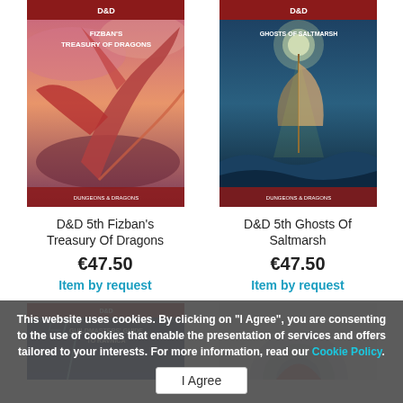[Figure (illustration): Book cover of D&D 5th Fizban's Treasury of Dragons showing a dragon in red/orange tones]
[Figure (illustration): Book cover of D&D 5th Ghosts of Saltmarsh showing a sailing ship in stormy blue/teal tones]
D&D 5th Fizban's Treasury Of Dragons
€47.50
Item by request
D&D 5th Ghosts Of Saltmarsh
€47.50
Item by request
[Figure (illustration): Book cover of D&D Guildmasters' Guide to Ravnica, partially visible]
[Figure (illustration): Partially visible circular item, bottom right]
This website uses cookies. By clicking on "I Agree", you are consenting to the use of cookies that enable the presentation of services and offers tailored to your interests. For more information, read our Cookie Policy.